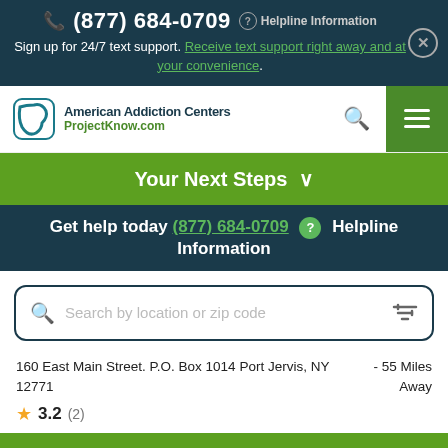(877) 684-0709  Helpline Information
Sign up for 24/7 text support. Receive text support right away and at your convenience.
[Figure (logo): American Addiction Centers / ProjectKnow.com logo with teal speech bubble icon]
Your Next Steps ∨
Get help today (877) 684-0709 ? Helpline Information
[Figure (screenshot): Search box with placeholder 'Search by location or zip code' and filter icon]
160 East Main Street. P.O. Box 1014 Port Jervis, NY 12771  -  55 Miles Away
★ 3.2 (2)
Your Next Steps ∧